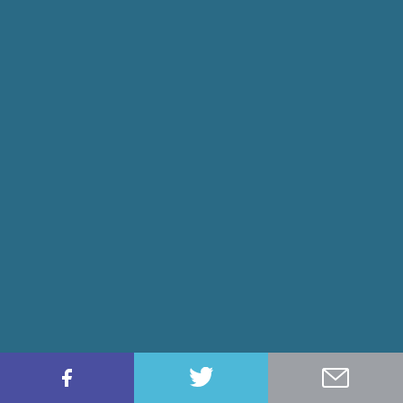© 2022 DatingAdvice.com | Digital Brands Inc. | All Rights Reserved
▲ Back to top
Disclaimer: Great efforts are made to maintain reliable data on all offers presented. However, this data is provided without warranty. Users should always check the offer provider's official website for current terms and details. Our site receives compensation from many of the offers listed on the site. Along with key review factors, this compensation may impact how and where products appear across the site (including, for example, the order in which they appear). Our site does not include the entire universe of available offers. Editorial opinions expressed on the site are strictly our own and are not provided,
[Figure (other): Social sharing buttons: Facebook (purple), Twitter (light blue), Email (gray)]